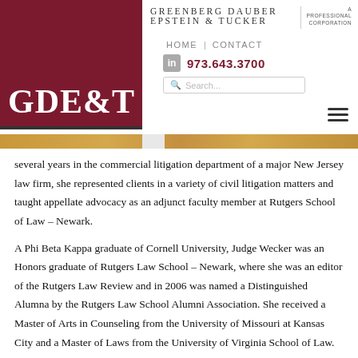[Figure (logo): GDE&T law firm logo - dark red/maroon square with white GDE&T text, firm name Greenberg Dauber Epstein & Tucker, navigation links HOME and CONTACT, phone 973.643.3700, LinkedIn icon, search box, hamburger menu icon, gold decorative bar]
several years in the commercial litigation department of a major New Jersey law firm, she represented clients in a variety of civil litigation matters and taught appellate advocacy as an adjunct faculty member at Rutgers School of Law – Newark.
A Phi Beta Kappa graduate of Cornell University, Judge Wecker was an Honors graduate of Rutgers Law School – Newark, where she was an editor of the Rutgers Law Review and in 2006 was named a Distinguished Alumna by the Rutgers Law School Alumni Association. She received a Master of Arts in Counseling from the University of Missouri at Kansas City and a Master of Laws from the University of Virginia School of Law.